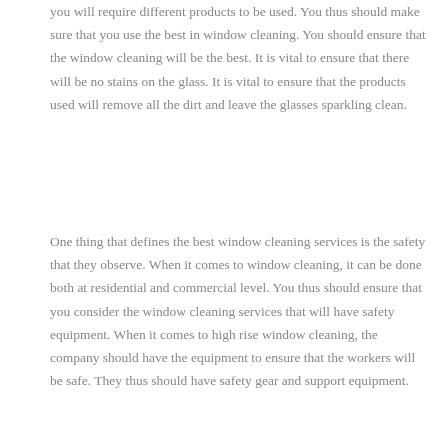you will require different products to be used. You thus should make sure that you use the best in window cleaning. You should ensure that the window cleaning will be the best. It is vital to ensure that there will be no stains on the glass. It is vital to ensure that the products used will remove all the dirt and leave the glasses sparkling clean.
One thing that defines the best window cleaning services is the safety that they observe. When it comes to window cleaning, it can be done both at residential and commercial level. You thus should ensure that you consider the window cleaning services that will have safety equipment. When it comes to high rise window cleaning, the company should have the equipment to ensure that the workers will be safe. They thus should have safety gear and support equipment.